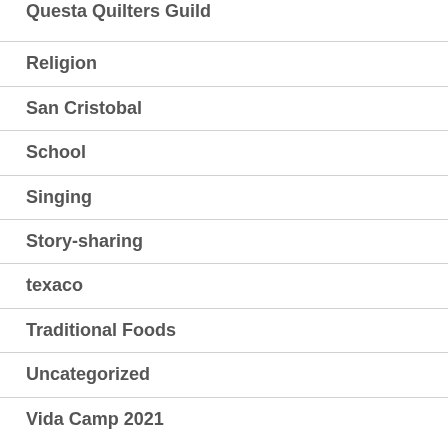Questa Quilters Guild
Religion
San Cristobal
School
Singing
Story-sharing
texaco
Traditional Foods
Uncategorized
Vida Camp 2021